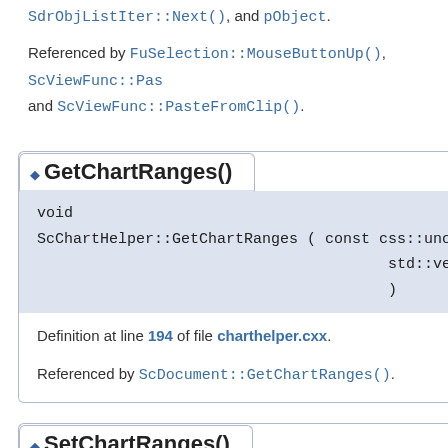SdrObjListIter::Next(), and pObject.
Referenced by FuSelection::MouseButtonUp(), ScViewFunc::Pas and ScViewFunc::PasteFromClip().
◆ GetChartRanges()
void
ScChartHelper::GetChartRanges ( const css::uno::Reference< css::c
                                        std::vector< OUString > &
                                        )
Definition at line 194 of file charthelper.cxx.
Referenced by ScDocument::GetChartRanges().
◆ SetChartRanges()